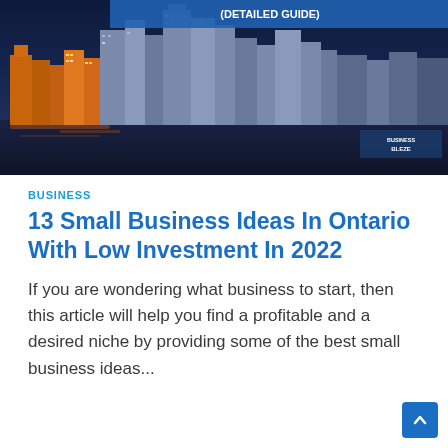[Figure (photo): City skyline at night with blue tone overlay and text '(DETAILED GUIDE)' visible at top, watermark 'BUSINESS BLEZE' at bottom right]
BUSINESS
13 Small Business Ideas In Ontario With Low Investment In 2022
If you are wondering what business to start, then this article will help you find a profitable and a desired niche by providing some of the best small business ideas...